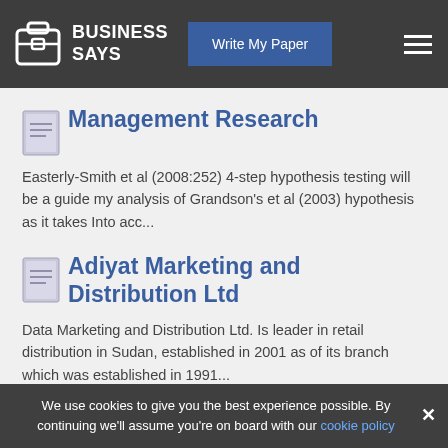BUSINESS SAYS | Write My Paper
Management Research
Easterly-Smith et al (2008:252) 4-step hypothesis testing will be a guide my analysis of Grandson's et al (2003) hypothesis as it takes Into acc...
Adiyat Marketing and Distribution Ltd
Data Marketing and Distribution Ltd. Is leader in retail distribution in Sudan, established in 2001 as of its branch which was established in 1991...
We use cookies to give you the best experience possible. By continuing we'll assume you're on board with our cookie policy